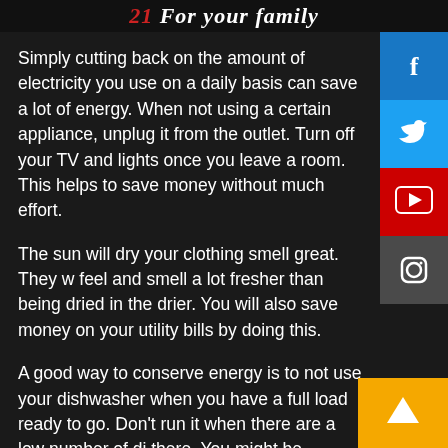For your family
Simply cutting back on the amount of electricity you use on a daily basis can save a lot of energy. When not using a certain appliance, unplug it from the outlet. Turn off your TV and lights once you leave a room. This helps to save money without much effort.
The sun will dry your clothing smell great. They will feel and smell a lot fresher than being dried in the drier. You will also save money on your utility bills by doing this.
A good way to conserve energy is to not use your dishwasher when you have a full load ready to go. Don’t run it when there are a low number of dishes there. You might be surprised by the number of items that can fit in your dishwasher.